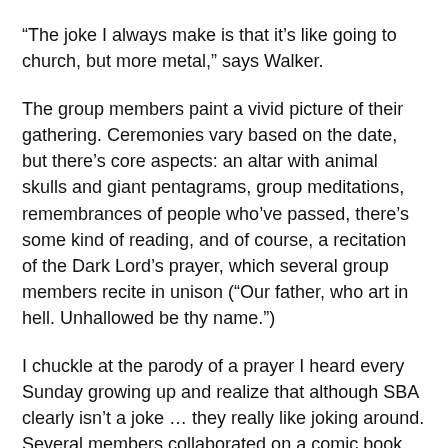“The joke I always make is that it’s like going to church, but more metal,” says Walker.
The group members paint a vivid picture of their gathering. Ceremonies vary based on the date, but there’s core aspects: an altar with animal skulls and giant pentagrams, group meditations, remembrances of people who’ve passed, there’s some kind of reading, and of course, a recitation of the Dark Lord’s prayer, which several group members recite in unison (“Our father, who art in hell. Unhallowed be thy name.”)
I chuckle at the parody of a prayer I heard every Sunday growing up and realize that although SBA clearly isn’t a joke … they really like joking around. Several members collaborated on a comic book skewering reproductive rights hypocrisy and there’s plans to record an old timey Satanic radio play. They’re the type of people who’d be kicked out of youth group for asking questions both stupid and way too smart. They’ve given conventional religious doctrines a lot of thought and come to the conclusion that the dogma is